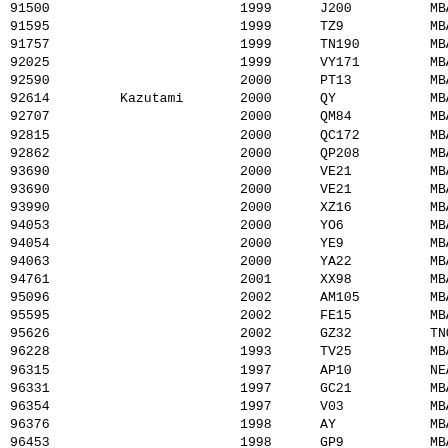| ID | Name | Year | Code | Type |
| --- | --- | --- | --- | --- |
| 91500 |  | 1999 | J200 | MBA |
| 91595 |  | 1999 | TZ9 | MBA |
| 91757 |  | 1999 | TN190 | MBA |
| 92025 |  | 1999 | VY171 | MBA |
| 92590 |  | 2000 | PT13 | MBA |
| 92614 | Kazutami | 2000 | QY | MBA |
| 92707 |  | 2000 | QM84 | MBA |
| 92815 |  | 2000 | QC172 | MBA |
| 92862 |  | 2000 | QP208 | MBA |
| 93690 |  | 2000 | VE21 | MBA |
| 93690 |  | 2000 | VE21 | MBA |
| 93990 |  | 2000 | XZ16 | MBA |
| 94053 |  | 2000 | YO6 | MBA |
| 94054 |  | 2000 | YE9 | MBA |
| 94063 |  | 2000 | YA22 | MBA |
| 94761 |  | 2001 | XX98 | MBA |
| 95096 |  | 2002 | AM105 | MBA |
| 95595 |  | 2002 | FE15 | MBA |
| 95626 |  | 2002 | GZ32 | TNO |
| 96228 |  | 1993 | TV25 | MBA |
| 96315 |  | 1997 | AP10 | NEA |
| 96331 |  | 1997 | GC21 | MBA |
| 96354 |  | 1997 | V03 | MBA |
| 96376 |  | 1998 | AY | MBA |
| 96453 |  | 1998 | GP9 | MBA |
| 96488 |  | 1998 | J03 | MBA |
| 96510 |  | 1998 | QL55 | MBA |
| 96536 |  | 1998 | S010 | NEA |
| 96540 |  | 1998 | SC29 | MBA |
| 96555 |  | 1998 | SN121 | MBA |
| 96560 |  | 1998 | SE122 | MBA |